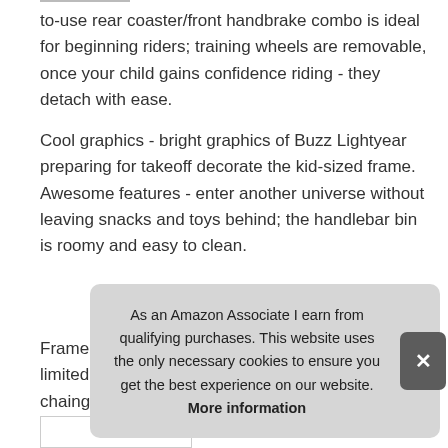to-use rear coaster/front handbrake combo is ideal for beginning riders; training wheels are removable, once your child gains confidence riding - they detach with ease.
Cool graphics - bright graphics of Buzz Lightyear preparing for takeoff decorate the kid-sized frame. Awesome features - enter another universe without leaving snacks and toys behind; the handlebar bin is roomy and easy to clean.
More information #ad
Frame - the durable steel frame is protected by a limited lifetime frame warranty; plus, the enclosed chainguard prot... yea...
As an Amazon Associate I earn from qualifying purchases. This website uses the only necessary cookies to ensure you get the best experience on our website. More information